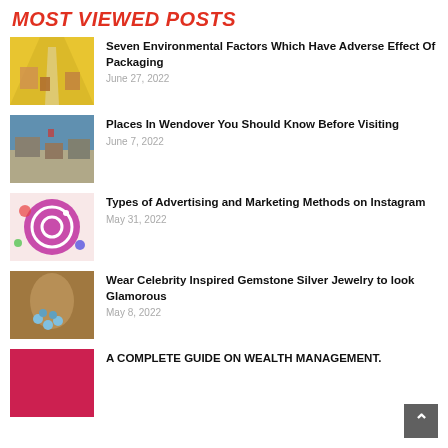Most Viewed Posts
Seven Environmental Factors Which Have Adverse Effect Of Packaging | June 27, 2022
Places In Wendover You Should Know Before Visiting | June 7, 2022
Types of Advertising and Marketing Methods on Instagram | May 31, 2022
Wear Celebrity Inspired Gemstone Silver Jewelry to look Glamorous | May 8, 2022
A COMPLETE GUIDE ON WEALTH MANAGEMENT.